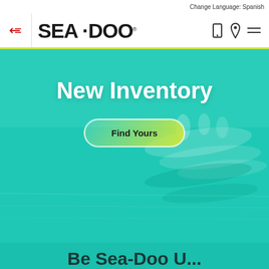Change Language: Spanish
[Figure (logo): Sea-Doo logo in the navigation bar with phone icon, location pin icon, and hamburger menu]
[Figure (photo): Hero banner with teal/turquoise background showing Sea-Doo jet skis on water, with 'New Inventory' heading and 'Find Yours' button]
New Inventory
Find Yours
Be Sea-Doo U...